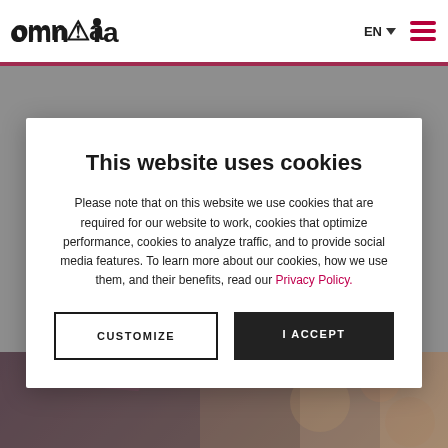Knowledge sharing helps driving growth at MTES?
[Figure (logo): Omnia logo with stylized figure icon in the letter i]
EN ▾
This website uses cookies
Please note that on this website we use cookies that are required for our website to work, cookies that optimize performance, cookies to analyze traffic, and to provide social media features. To learn more about our cookies, how we use them, and their benefits, read our Privacy Policy.
CUSTOMIZE
I ACCEPT
[Figure (photo): Partially visible background photo of people at a table with colorful items, blurred bokeh lighting]